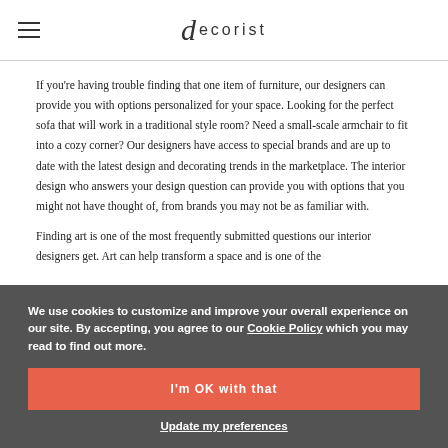decorist
If you're having trouble finding that one item of furniture, our designers can provide you with options personalized for your space. Looking for the perfect sofa that will work in a traditional style room? Need a small-scale armchair to fit into a cozy corner? Our designers have access to special brands and are up to date with the latest design and decorating trends in the marketplace. The interior design who answers your design question can provide you with options that you might not have thought of, from brands you may not be as familiar with.
Finding art is one of the most frequently submitted questions our interior designers get. Art can help transform a space and is one of the
budget level. The most interesting and dynamic designs also mix art from different styles and our designers can help you put together different pieces of art in your room.
We use cookies to customize and improve your overall experience on our site. By accepting, you agree to our Cookie Policy which you may read to find out more.
I'm OK with that
Update my preferences